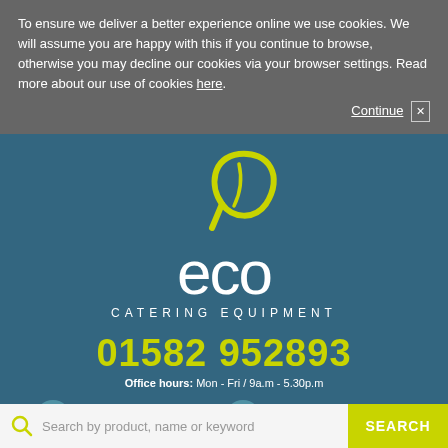To ensure we deliver a better experience online we use cookies. We will assume you are happy with this if you continue to browse, otherwise you may decline our cookies via your browser settings. Read more about our use of cookies here.
Continue ×
[Figure (logo): Eco Catering Equipment logo: a yellow-green leaf shape above white lowercase 'eco' text with 'CATERING EQUIPMENT' subtitle]
01582 952893
Office hours: Mon - Fri / 9a.m - 5.30p.m
Price Promise
Free shipping
Warranty
Contact Us
Search by product, name or keyword
SEARCH